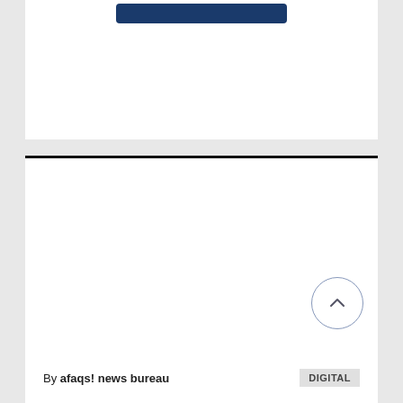[Figure (other): Dark navy blue rounded rectangle button element at the top of a white card section]
[Figure (other): Scroll-to-top circular button with chevron/caret up arrow icon, outlined circle style]
By afaqs! news bureau
DIGITAL